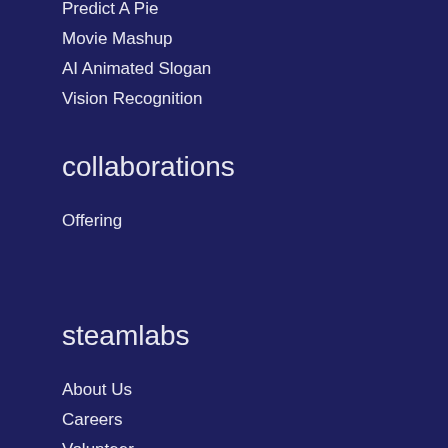Predict A Pie
Movie Mashup
AI Animated Slogan
Vision Recognition
collaborations
Offering
steamlabs
About Us
Careers
Volunteer
FAQs